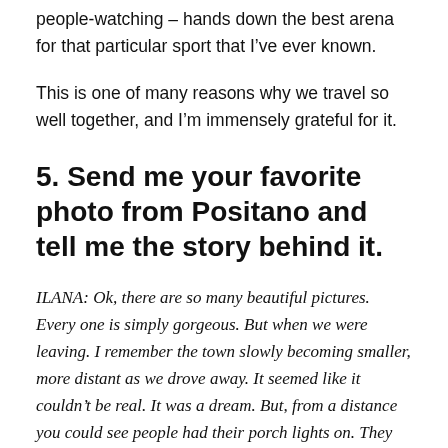people-watching — hands down the best arena for that particular sport that I've ever known.
This is one of many reasons why we travel so well together, and I'm immensely grateful for it.
5. Send me your favorite photo from Positano and tell me the story behind it.
ILANA: Ok, there are so many beautiful pictures. Every one is simply gorgeous. But when we were leaving. I remember the town slowly becoming smaller, more distant as we drove away. It seemed like it couldn't be real. It was a dream. But, from a distance you could see people had their porch lights on. They were in their homes. They were going about their lives. It didn't matter to them that the scene was